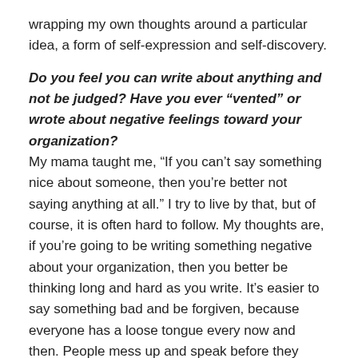wrapping my own thoughts around a particular idea, a form of self-expression and self-discovery.
Do you feel you can write about anything and not be judged? Have you ever “vented” or wrote about negative feelings toward your organization? My mama taught me, “If you can’t say something nice about someone, then you’re better not saying anything at all.” I try to live by that, but of course, it is often hard to follow. My thoughts are, if you’re going to be writing something negative about your organization, then you better be thinking long and hard as you write. It’s easier to say something bad and be forgiven, because everyone has a loose tongue every now and then. People mess up and speak before they think. But to actually put those thoughts in writing requires a considerable more amount of thought and effort.